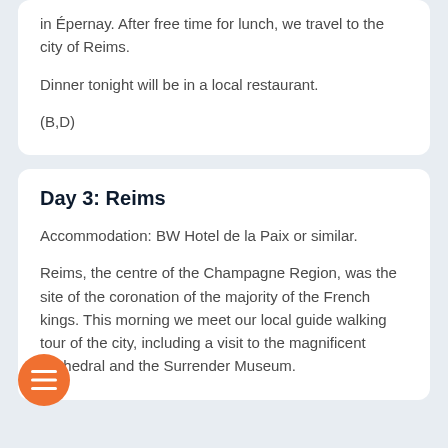in Épernay. After free time for lunch, we travel to the city of Reims.
Dinner tonight will be in a local restaurant.
(B,D)
Day 3: Reims
Accommodation: BW Hotel de la Paix or similar.
Reims, the centre of the Champagne Region, was the site of the coronation of the majority of the French kings. This morning we meet our local guide walking tour of the city, including a visit to the magnificent Cathedral and the Surrender Museum.